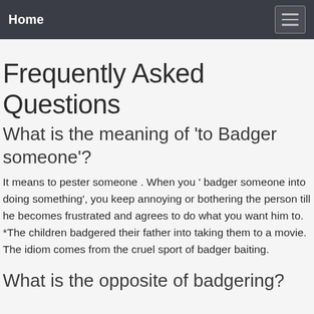Home
Frequently Asked Questions
What is the meaning of 'to Badger someone'?
It means to pester someone . When you ' badger someone into doing something', you keep annoying or bothering the person till he becomes frustrated and agrees to do what you want him to. *The children badgered their father into taking them to a movie. The idiom comes from the cruel sport of badger baiting.
What is the opposite of badgering?